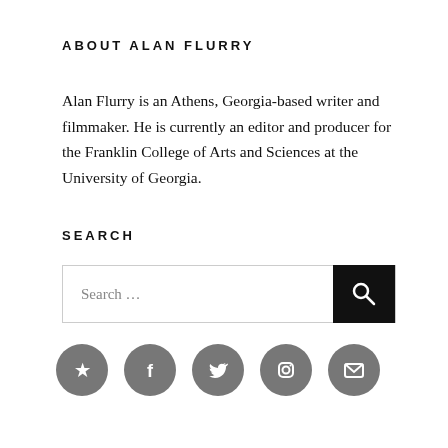ABOUT ALAN FLURRY
Alan Flurry is an Athens, Georgia-based writer and filmmaker. He is currently an editor and producer for the Franklin College of Arts and Sciences at the University of Georgia.
SEARCH
[Figure (other): Search box with text input placeholder 'Search ...' and a black search button with magnifying glass icon]
[Figure (other): Row of five gray circular social media icons: Yelp, Facebook, Twitter, Instagram, Email]